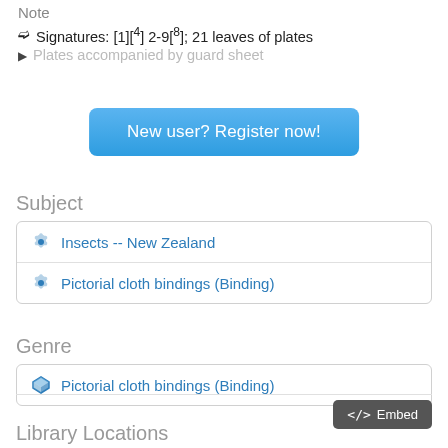Note
Signatures: [1][superscript 4] 2-9[superscript 8]; 21 leaves of plates
Plates accompanied by guard sheet
New user? Register now!
Subject
Insects -- New Zealand
Pictorial cloth bindings (Binding)
Genre
Pictorial cloth bindings (Binding)
</> Embed
Library Locations